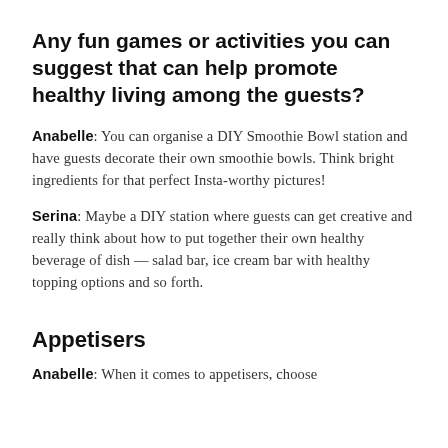Any fun games or activities you can suggest that can help promote healthy living among the guests?
Anabelle: You can organise a DIY Smoothie Bowl station and have guests decorate their own smoothie bowls. Think bright ingredients for that perfect Insta-worthy pictures!
Serina: Maybe a DIY station where guests can get creative and really think about how to put together their own healthy beverage of dish — salad bar, ice cream bar with healthy topping options and so forth.
Appetisers
Anabelle: When it comes to appetisers, choose